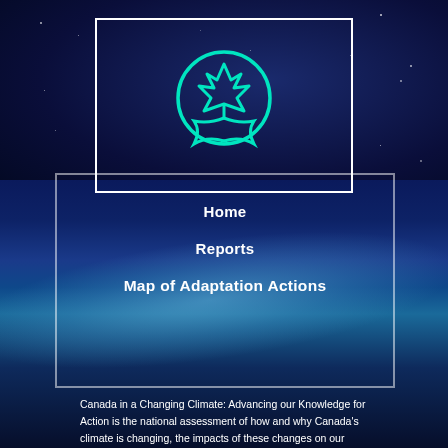[Figure (logo): Teal/cyan maple leaf icon inside a circle, displayed in a white-bordered box on a dark navy starry background]
Home
Reports
Map of Adaptation Actions
Canada in a Changing Climate: Advancing our Knowledge for Action is the national assessment of how and why Canada's climate is changing, the impacts of these changes on our communities, environment, and economy, and how we are adapting.